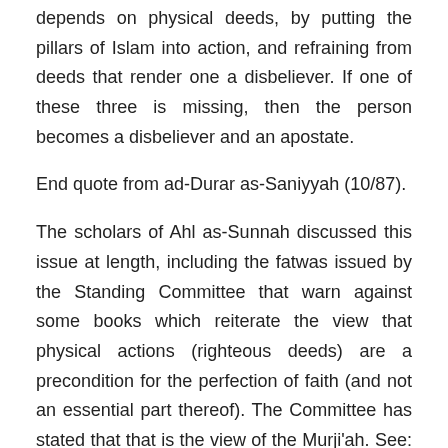depends on physical deeds, by putting the pillars of Islam into action, and refraining from deeds that render one a disbeliever. If one of these three is missing, then the person becomes a disbeliever and an apostate.
End quote from ad-Durar as-Saniyyah (10/87).
The scholars of Ahl as-Sunnah discussed this issue at length, including the fatwas issued by the Standing Committee that warn against some books which reiterate the view that physical actions (righteous deeds) are a precondition for the perfection of faith (and not an essential part thereof). The Committee has stated that that is the view of the Murji'ah. See: Fataawa al-Lajnah ad-Daa'imah (2/127-139, vol. 3).